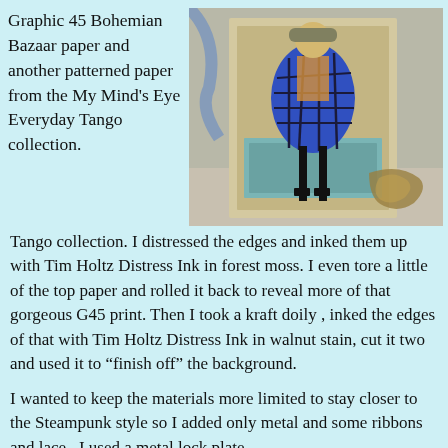Graphic 45 Bohemian Bazaar paper and another patterned paper from the My Mind's Eye Everyday Tango collection.
[Figure (photo): A decorative steampunk-style art piece featuring a stylized female figure in a blue geometric dress with black stockings, framed by an ornate vintage-style border with scrollwork, against a beige/lavender background.]
Graphic 45 Bohemian Bazaar paper and another patterned paper from the My Mind's Eye Everyday Tango collection. I distressed the edges and inked them up with Tim Holtz Distress Ink in forest moss. I even tore a little of the top paper and rolled it back to reveal more of that gorgeous G45 print. Then I took a kraft doily , inked the edges of that with Tim Holtz Distress Ink in walnut stain, cut it two and used it to “finish off” the background.
I wanted to keep the materials more limited to stay closer to the Steampunk style so I added only metal and some ribbons and lace.  I used a metal lock plate called into and on an action to help "from Graphic